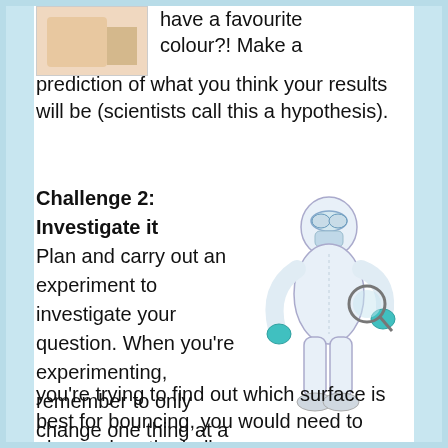[Figure (illustration): Partial illustration visible at top left corner of page]
have a favourite colour?! Make a prediction of what you think your results will be (scientists call this a hypothesis).
Challenge 2: Investigate it
Plan and carry out an experiment to investigate your question. When you're experimenting, remember to only change one thing at a time and try to keep all other variables the same. For example, if you're trying to find out which surface is best for bouncing, you would need to always drop the ball